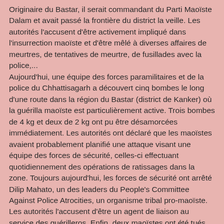Originaire du Bastar, il serait commandant du Parti Maoïste Dalam et avait passé la frontière du district la veille. Les autorités l'accusent d'être activement impliqué dans l'insurrection maoïste et d'être mêlé à diverses affaires de meurtres, de tentatives de meurtre, de fusillades avec la police,...
Aujourd'hui, une équipe des forces paramilitaires et de la police du Chhattisagarh a découvert cinq bombes le long d'une route dans la région du Bastar (district de Kanker) où la guérilla maoïste est particulièrement active. Trois bombes de 4 kg et deux de 2 kg ont pu être désamorcées immédiatement. Les autorités ont déclaré que les maoïstes avaient probablement planifié une attaque visant une équipe des forces de sécurité, celles-ci effectuant quotidiennement des opérations de ratissages dans la zone. Toujours aujourd'hui, les forces de sécurité ont arrêté Dilip Mahato, un des leaders du People's Committee Against Police Atrocities, un organisme tribal pro-maoïste. Les autorités l'accusent d'être un agent de liaison au service des guérilleros. Enfin, deux maoïstes ont été tués au cours d'une fusillade avec la police dans la région forestière de Gollapalli (Chhattisgarh). Les forces de sécurité seraient tombées sur un groupe de guérilleros durant une opération de ratissage, entraînant une